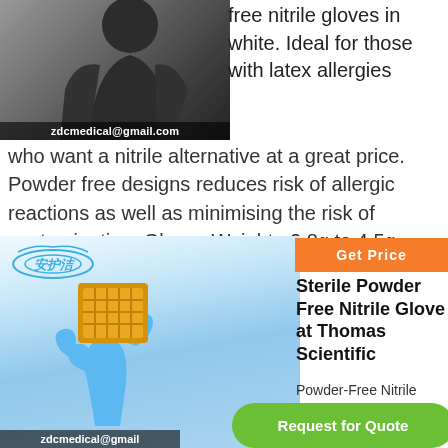[Figure (photo): Person wearing dark clothing, partial view, with zdcmedical@gmail.com watermark overlay at bottom of image]
free nitrile gloves in white. Ideal for those with latex allergies who want a nitrile alternative at a great price. Powder free designs reduces risk of allergic reactions as well as minimising the risk of contamination. Gloves Weight : 2.8g to 4.5g.
[Figure (photo): Blue nitrile glove holding a waffle/food item, with Chinese safety logo (安护洁) in top left, and zdcmedical@gmail watermark at bottom]
Get Price
Sterile Powder Free Nitrile Glove at Thomas Scientific
Powder-Free Nitrile Gloves. High Five.
Request for Quote